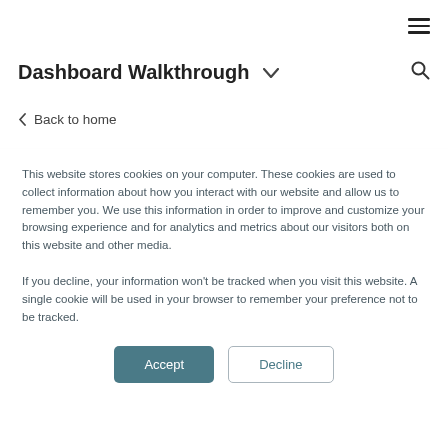≡ (hamburger menu icon)
Dashboard Walkthrough ∨
Back to home
This website stores cookies on your computer. These cookies are used to collect information about how you interact with our website and allow us to remember you. We use this information in order to improve and customize your browsing experience and for analytics and metrics about our visitors both on this website and other media.

If you decline, your information won't be tracked when you visit this website. A single cookie will be used in your browser to remember your preference not to be tracked.
Accept  Decline